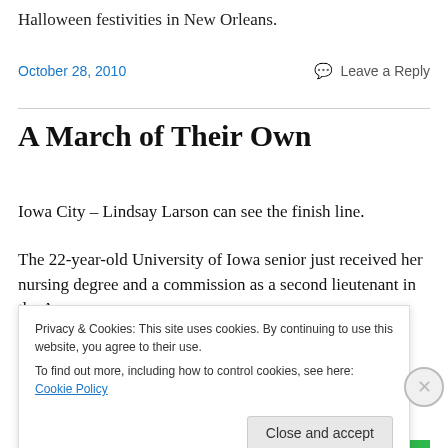Halloween festivities in New Orleans.
October 28, 2010
Leave a Reply
A March of Their Own
Iowa City – Lindsay Larson can see the finish line.
The 22-year-old University of Iowa senior just received her nursing degree and a commission as a second lieutenant in the Army.
Privacy & Cookies: This site uses cookies. By continuing to use this website, you agree to their use.
To find out more, including how to control cookies, see here: Cookie Policy
Close and accept